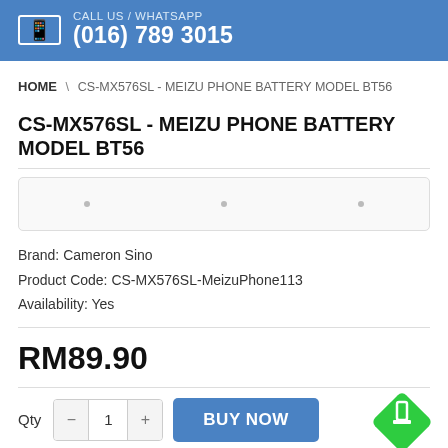CALL US / WHATSAPP (016) 789 3015
HOME \ CS-MX576SL - MEIZU PHONE BATTERY MODEL BT56
CS-MX576SL - MEIZU PHONE BATTERY MODEL BT56
[Figure (other): Product image carousel placeholder with three dots]
Brand: Cameron Sino
Product Code: CS-MX576SL-MeizuPhone113
Availability: Yes
RM89.90
Qty 1  BUY NOW